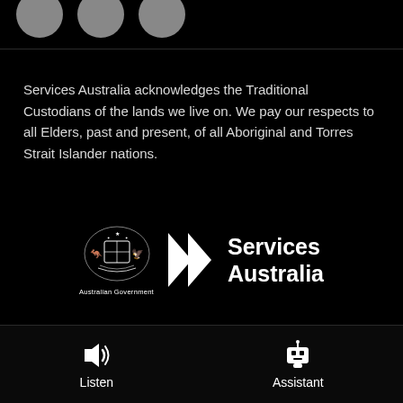[Figure (illustration): Three partially visible circular avatar icons at the top of the page on a dark background]
Services Australia acknowledges the Traditional Custodians of the lands we live on. We pay our respects to all Elders, past and present, of all Aboriginal and Torres Strait Islander nations.
[Figure (logo): Australian Government coat of arms with 'Australian Government' text alongside the Services Australia logo with double chevron arrows and bold 'Services Australia' text]
ABN - 90 794 605 008
Listen | Assistant